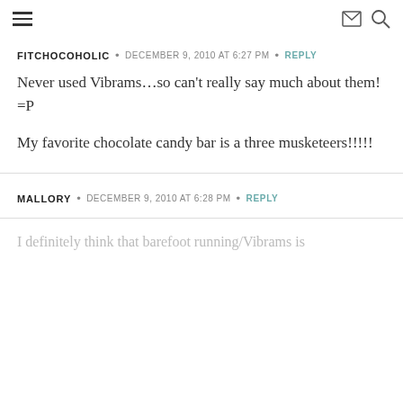[navigation icons: hamburger menu, email, search]
FITCHOCOHOLIC • DECEMBER 9, 2010 AT 6:27 PM • REPLY
Never used Vibrams…so can't really say much about them! =P
My favorite chocolate candy bar is a three musketeers!!!!!
MALLORY • DECEMBER 9, 2010 AT 6:28 PM • REPLY
I definitely think that barefoot running/Vibrams is